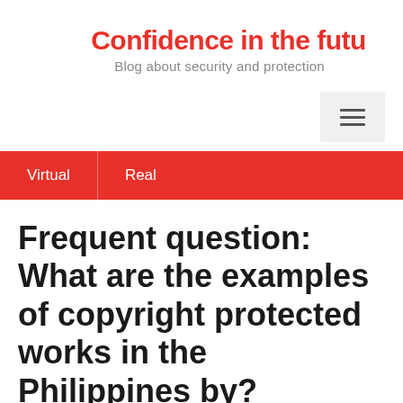Confidence in the futu
Blog about security and protection
[Figure (other): Hamburger menu button icon with three horizontal lines]
Virtual | Real
Frequent question: What are the examples of copyright protected works in the Philippines by?